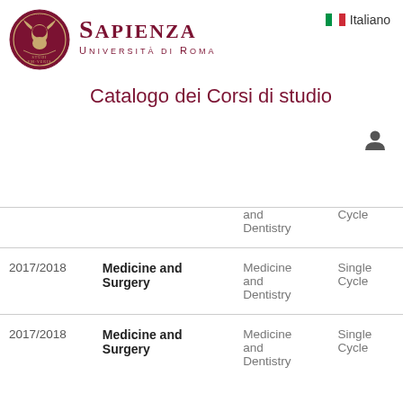[Figure (logo): Sapienza Università di Roma circular seal/crest logo in dark red/maroon]
SAPIENZA
UNIVERSITÀ DI ROMA
Italiano
Catalogo dei Corsi di studio
|  |  | and Dentistry | Cycle |
| --- | --- | --- | --- |
| 2017/2018 | Medicine and Surgery | Medicine and Dentistry | Single Cycle |
| 2017/2018 | Medicine and Surgery | Medicine and Dentistry | Single Cycle |